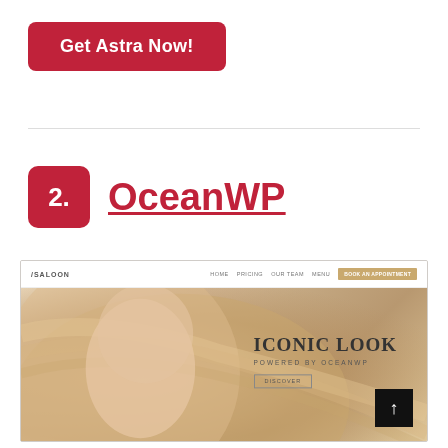[Figure (screenshot): Red rounded button labeled 'Get Astra Now!' on white background]
2. OceanWP
[Figure (screenshot): Screenshot of OceanWP demo website 'SALOON' with a beauty/hair salon theme. Shows navbar with SALOON logo and navigation links (HOME, PRICING, OUR TEAM, MENU, BOOK AN APPOINTMENT button). Hero section features a blonde woman with flowing hair and text 'ICONIC LOOK POWERED BY OCEANWP' with a DISCOVER button. A black back-to-top arrow button is visible in the bottom right corner.]